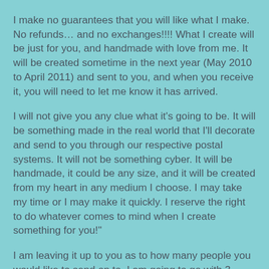I make no guarantees that you will like what I make. No refunds… and no exchanges!!!! What I create will be just for you, and handmade with love from me. It will be created sometime in the next year (May 2010 to April 2011) and sent to you, and when you receive it, you will need to let me know it has arrived.
I will not give you any clue what it's going to be. It will be something made in the real world that I'll decorate and send to you through our respective postal systems. It will not be something cyber. It will be handmade, it could be any size, and it will be created from my heart in any medium I choose. I may take my time or I may make it quickly. I reserve the right to do whatever comes to mind when I create something for you!"
I am leaving it up to you as to how many people you would like to send on to. I am going to go with 3 because I don't want to stress myself out over this, but I do want to spread some generosity around, and I am giving myself a whole year in which to do it.  If you sign up, wait until you receive